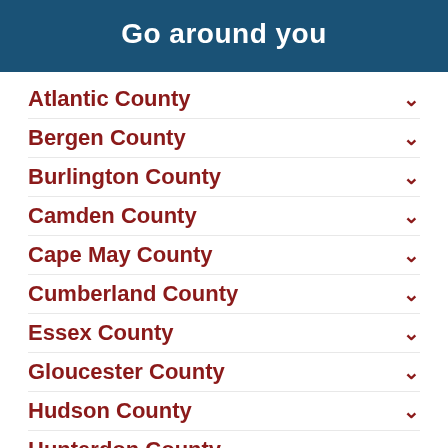Go around you
Atlantic County
Bergen County
Burlington County
Camden County
Cape May County
Cumberland County
Essex County
Gloucester County
Hudson County
Hunterdon County